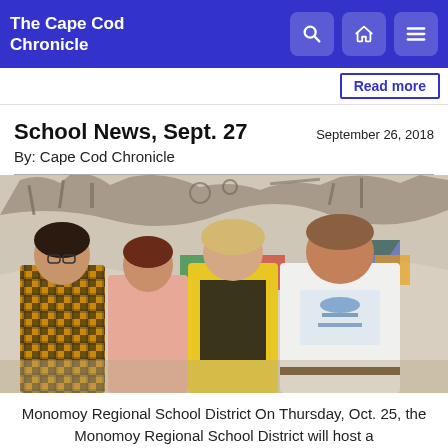The Cape Cod Chronicle
Read more
School News, Sept. 27
September 26, 2018
By: Cape Cod Chronicle
[Figure (photo): Four people posing in front of a metallic wall sculpture art installation. From left: woman in yellow-black plaid shirt, woman in pink shirt, woman in yellow cardigan with floral top, man in white t-shirt.]
Monomoy Regional School District On Thursday, Oct. 25, the Monomoy Regional School District will host a